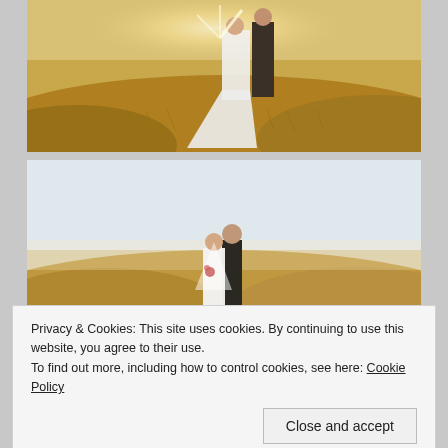[Figure (photo): Wedding couple standing on golden grass hillside at sunset, woman in white dress with long train, man in dark suit, bright sunlight behind them]
[Figure (photo): Wedding couple embracing on golden rolling hills under pale sky, woman in white dress and veil, man in dark suit]
Privacy & Cookies: This site uses cookies. By continuing to use this website, you agree to their use.
To find out more, including how to control cookies, see here: Cookie Policy
Close and accept